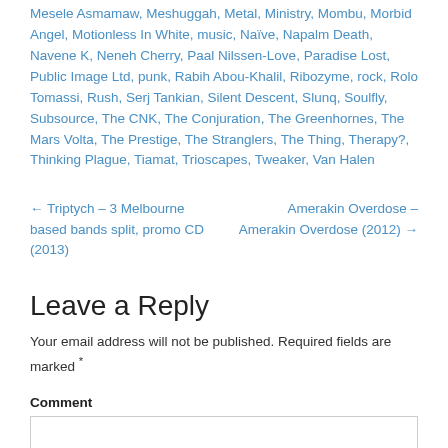Mesele Asmamaw, Meshuggah, Metal, Ministry, Mombu, Morbid Angel, Motionless In White, music, Naïve, Napalm Death, Navene K, Neneh Cherry, Paal Nilssen-Love, Paradise Lost, Public Image Ltd, punk, Rabih Abou-Khalil, Ribozyme, rock, Rolo Tomassi, Rush, Serj Tankian, Silent Descent, Slunq, Soulfly, Subsource, The CNK, The Conjuration, The Greenhornes, The Mars Volta, The Prestige, The Stranglers, The Thing, Therapy?, Thinking Plague, Tiamat, Trioscapes, Tweaker, Van Halen
← Triptych – 3 Melbourne based bands split, promo CD (2013)
Amerakin Overdose – Amerakin Overdose (2012) →
Leave a Reply
Your email address will not be published. Required fields are marked *
Comment